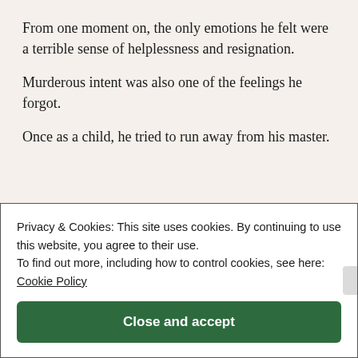From one moment on, the only emotions he felt were a terrible sense of helplessness and resignation.
Murderous intent was also one of the feelings he forgot.
Once as a child, he tried to run away from his master.
Privacy & Cookies: This site uses cookies. By continuing to use this website, you agree to their use.
To find out more, including how to control cookies, see here: Cookie Policy

Close and accept